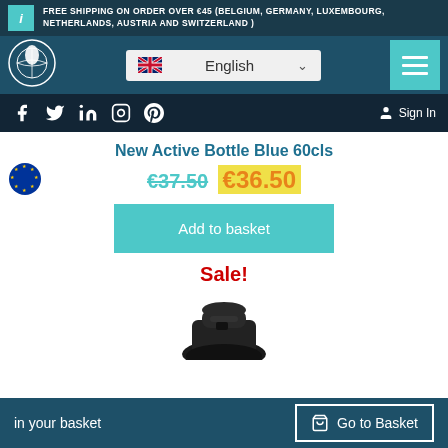FREE SHIPPING ON ORDER OVER €45 (BELGIUM, GERMANY, LUXEMBOURG, NETHERLANDS, AUSTRIA AND SWITZERLAND )
[Figure (logo): Water drop globe logo]
English
Sign In
New Active Bottle Blue 60cls
€37.50  €36.50
Add to basket
Sale!
[Figure (photo): Black bottle cap/lid product photo]
in your basket
Go to Basket